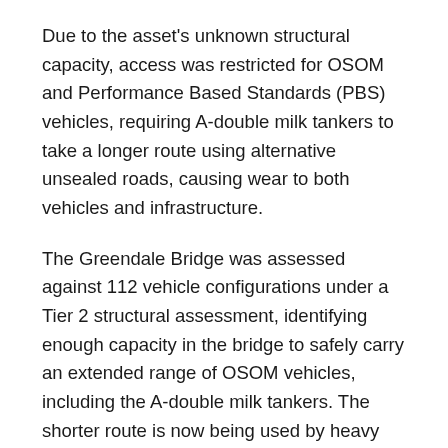Due to the asset's unknown structural capacity, access was restricted for OSOM and Performance Based Standards (PBS) vehicles, requiring A-double milk tankers to take a longer route using alternative unsealed roads, causing wear to both vehicles and infrastructure.
The Greendale Bridge was assessed against 112 vehicle configurations under a Tier 2 structural assessment, identifying enough capacity in the bridge to safely carry an extended range of OSOM vehicles, including the A-double milk tankers. The shorter route is now being used by heavy vehicle operators, safely providing productivity benefits while reducing vehicle wear and road damage.
Assistant Minister for Road Safety and Freight Transport Scott Buchholz said,  “This program is vital for helping